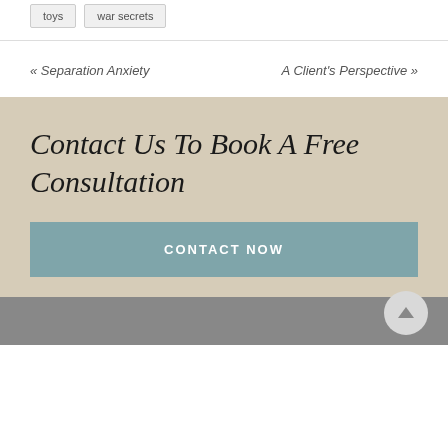toys
war secrets
« Separation Anxiety
A Client's Perspective »
Contact Us To Book A Free Consultation
CONTACT NOW